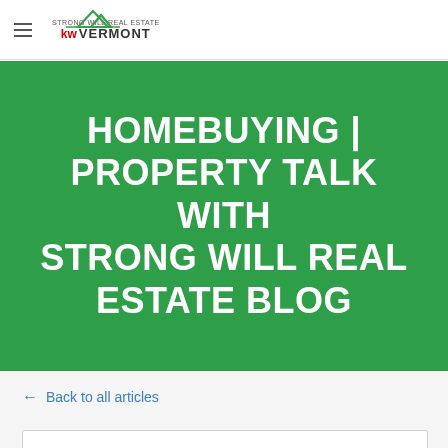Strong Will Real Estate | KW Vermont
HOMEBUYING | PROPERTY TALK WITH STRONG WILL REAL ESTATE BLOG
← Back to all articles